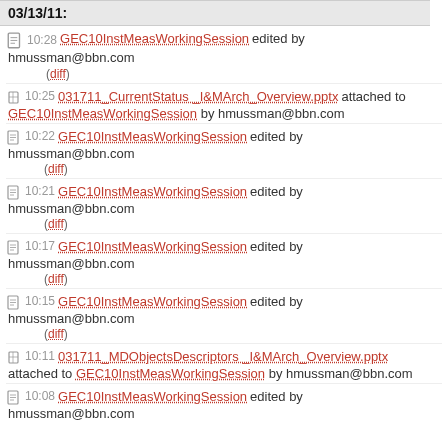03/13/11:
10:28 GEC10InstMeasWorkingSession edited by hmussman@bbn.com (diff)
10:25 031711_CurrentStatus_I&MArch_Overview.pptx attached to GEC10InstMeasWorkingSession by hmussman@bbn.com
10:22 GEC10InstMeasWorkingSession edited by hmussman@bbn.com (diff)
10:21 GEC10InstMeasWorkingSession edited by hmussman@bbn.com (diff)
10:17 GEC10InstMeasWorkingSession edited by hmussman@bbn.com (diff)
10:15 GEC10InstMeasWorkingSession edited by hmussman@bbn.com (diff)
10:11 031711_MDObjectsDescriptors_I&MArch_Overview.pptx attached to GEC10InstMeasWorkingSession by hmussman@bbn.com
10:08 GEC10InstMeasWorkingSession edited by hmussman@bbn.com